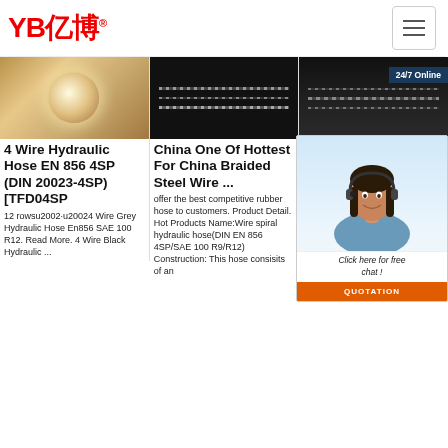YB亿博® [logo] + menu icon
[Figure (photo): Three product image thumbnails: left shows close-up of rubber/hose material in warm tones, center shows braided steel wire hose on dark background, right shows dark industrial hose with '24/7 Online' badge overlay]
4 Wire Hydraulic Hose EN 856 4SP (DIN 20023-4SP) [TFD04SP
12 rowsu2002·u20024 Wire Grey Hydraulic Hose En856 SAE 100 R12. Read More. 4 Wire Black Hydraulic ...
China One Of Hottest For China Braided Steel Wire ...
offer the best competitive rubber hose to customers. Product Detail. Hot Products Name:Wire spiral hydraulic hose(DIN EN 856 4SP/SAE 100 R9/R12) Construction: This hose consisits of an
Ste Sp Ru Ali
Add Ste Rub Quality Good Air Tightness Steel Wire Spiral Black Flexible Braided Hydraulic Rubber Hose. US $0.56-$6.30 Meter. 1000.0 Motors (Min
[Figure (photo): Chat agent overlay: woman with headset smiling, '24/7 Online' badge, 'Click here for free chat!' text, orange QUOTATION button]